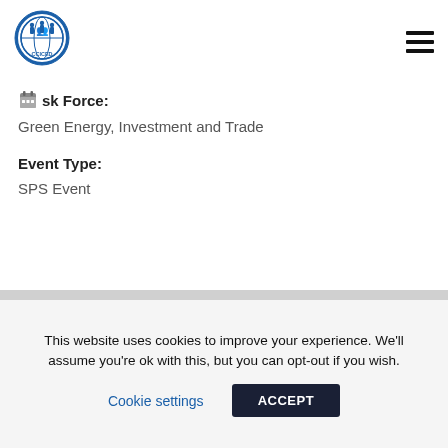[Figure (logo): CCICED circular logo with globe and figures, blue color]
Task Force:
Green Energy, Investment and Trade
Event Type:
SPS Event
This website uses cookies to improve your experience. We'll assume you're ok with this, but you can opt-out if you wish.